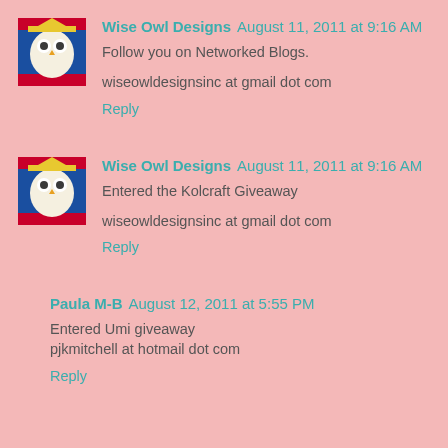[Figure (photo): Avatar image of an owl character in colorful costume for Wise Owl Designs (comment 1)]
Wise Owl Designs August 11, 2011 at 9:16 AM
Follow you on Networked Blogs.
wiseowldesignsinc at gmail dot com
Reply
[Figure (photo): Avatar image of an owl character in colorful costume for Wise Owl Designs (comment 2)]
Wise Owl Designs August 11, 2011 at 9:16 AM
Entered the Kolcraft Giveaway
wiseowldesignsinc at gmail dot com
Reply
Paula M-B August 12, 2011 at 5:55 PM
Entered Umi giveaway
pjkmitchell at hotmail dot com
Reply